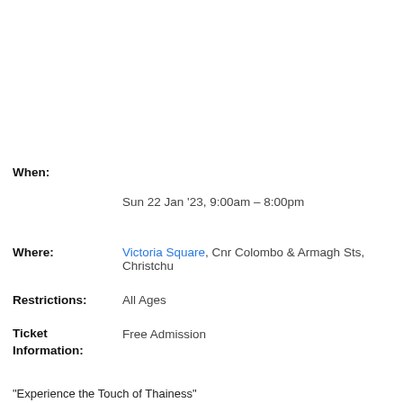When:
Sun 22 Jan '23, 9:00am – 8:00pm
Where: Victoria Square, Cnr Colombo & Armagh Sts, Christchu...
Restrictions: All Ages
Ticket Information: Free Admission
“Experience the Touch of Thainess”
Explore authentic Thai street food, tradition, art, culture, heritage, and true Th...